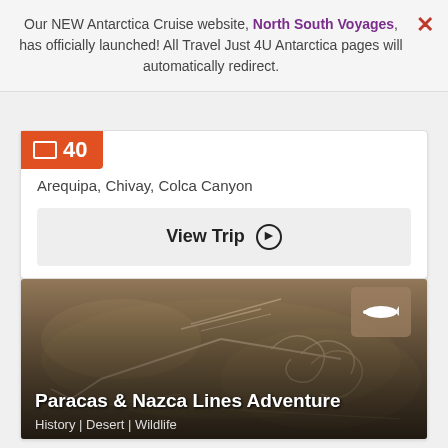Our NEW Antarctica Cruise website, North South Voyages, has officially launched! All Travel Just 4U Antarctica pages will automatically redirect.
Arequipa, Chivay, Colca Canyon
View Trip ➔
[Figure (photo): Aerial view of Nazca Lines geoglyphs in Peru, showing a hummingbird or similar figure etched into the desert landscape. An airplane icon overlay is visible in the top right corner of the photo.]
Paracas & Nazca Lines Adventure
History | Desert | Wildlife